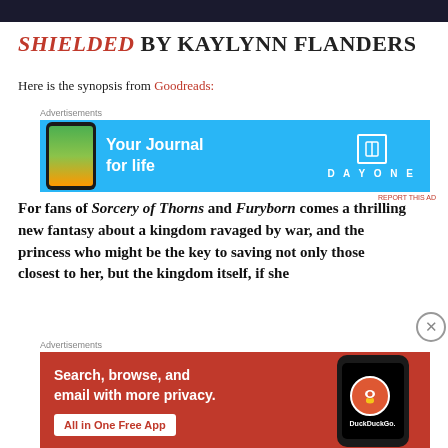[Figure (photo): Dark image at top of page, partially visible]
SHIELDED BY KAYLYNN FLANDERS
Here is the synopsis from Goodreads:
[Figure (infographic): Advertisement: Day One - Your Journal for life, with phone and app icon]
For fans of Sorcery of Thorns and Furyborn comes a thrilling new fantasy about a kingdom ravaged by war, and the princess who might be the key to saving not only those closest to her, but the kingdom itself, if she
[Figure (infographic): Advertisement: DuckDuckGo - Search, browse, and email with more privacy. All in One Free App]